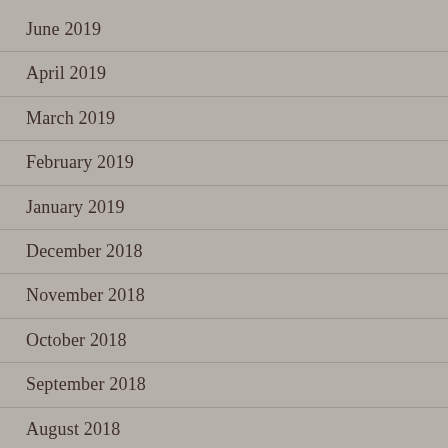June 2019
April 2019
March 2019
February 2019
January 2019
December 2018
November 2018
October 2018
September 2018
August 2018
July 2018